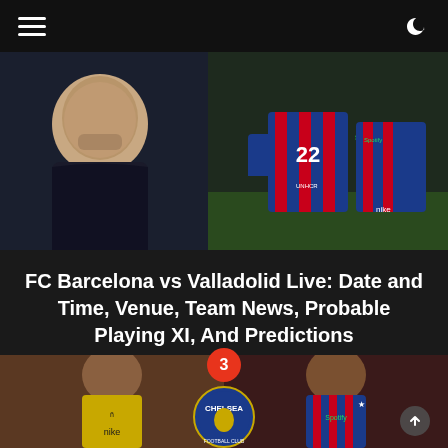Navigation bar with hamburger menu and dark mode toggle
[Figure (photo): FC Barcelona players in blue and red striped Spotify-sponsored kit alongside a coach in dark jacket. Player number 22 visible. UNHCR logo on shirt.]
FC Barcelona vs Valladolid Live: Date and Time, Venue, Team News, Probable Playing XI, And Predictions
[Figure (photo): Aubameyang shown twice - left in Barcelona gold away kit, right in Barcelona home blue/red kit, with Chelsea FC crest logo in the center. Red badge with number 3 at top center.]